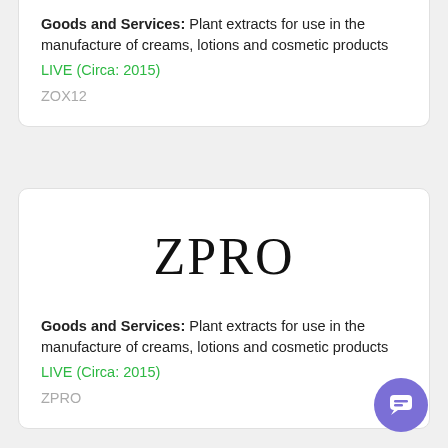Goods and Services: Plant extracts for use in the manufacture of creams, lotions and cosmetic products
LIVE (Circa: 2015)
ZOX12
[Figure (logo): Trademark logo text reading ZPRO in large serif font]
Goods and Services: Plant extracts for use in the manufacture of creams, lotions and cosmetic products
LIVE (Circa: 2015)
ZPRO